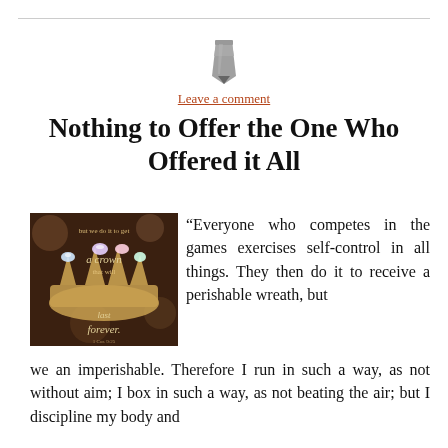[Figure (illustration): Pencil/edit icon in grey]
Leave a comment
Nothing to Offer the One Who Offered it All
[Figure (photo): Photo of a jeweled crown with text overlay reading 'but we do it to get a crown that will last forever.' with scripture reference]
“Everyone who competes in the games exercises self-control in all things. They then do it to receive a perishable wreath, but we an imperishable. Therefore I run in such a way, as not without aim; I box in such a way, as not beating the air; but I discipline my body and